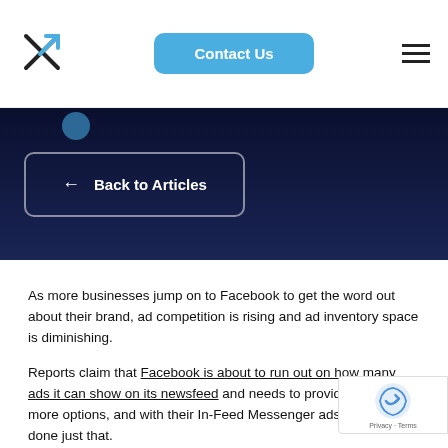Contact Us
← Back to Articles
As more businesses jump on to Facebook to get the word out about their brand, ad competition is rising and ad inventory space is diminishing.
Reports claim that Facebook is about to run out on how many ads it can show on its newsfeed and needs to provide advertisers more options, and with their In-Feed Messenger ads they have done just that.
In this article, I'll reveal how In-Feed Messenger ads work and